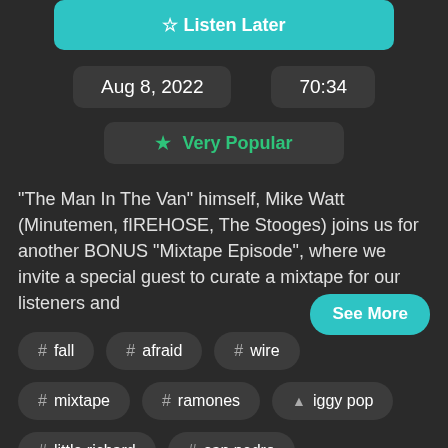Listen Later
Aug 8, 2022    70:34
★ Very Popular
"The Man In The Van" himself, Mike Watt (Minutemen, fIREHOSE, The Stooges) joins us for another BONUS "Mixtape Episode", where we invite a special guest to curate a mixtape for our listeners and
See More
# fall
# afraid
# wire
# mixtape
# ramones
iggy pop
# little richard
# san pedro